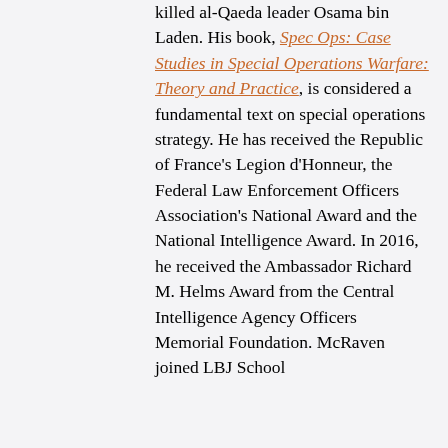killed al-Qaeda leader Osama bin Laden. His book, Spec Ops: Case Studies in Special Operations Warfare: Theory and Practice, is considered a fundamental text on special operations strategy. He has received the Republic of France's Legion d'Honneur, the Federal Law Enforcement Officers Association's National Award and the National Intelligence Award. In 2016, he received the Ambassador Richard M. Helms Award from the Central Intelligence Agency Officers Memorial Foundation. McRaven joined LBJ School